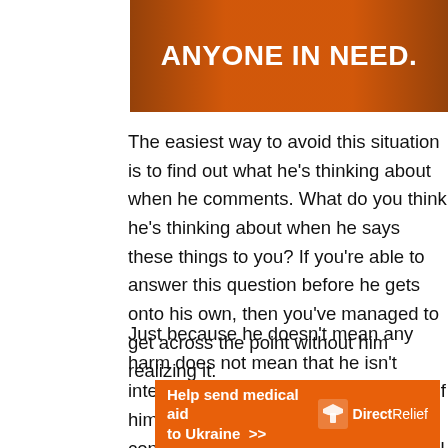[Figure (photo): Orange banner with text 'ANYONE IN NEED.' in bold white letters over a darkened background]
The easiest way to avoid this situation is to find out what he's thinking about when he comments. What do you think he's thinking about when he says these things to you? If you're able to answer this question before he gets onto his own, then you've managed to get across the point without him realizing it.
Just because he doesn't mean any harm does not mean that he isn't interested in knowing what you think of him. Learning how to ignore him to continue living your life without him will
[Figure (infographic): Orange advertisement banner: 'Help send medical aid to Ukraine >>' with Direct Relief logo on the right]